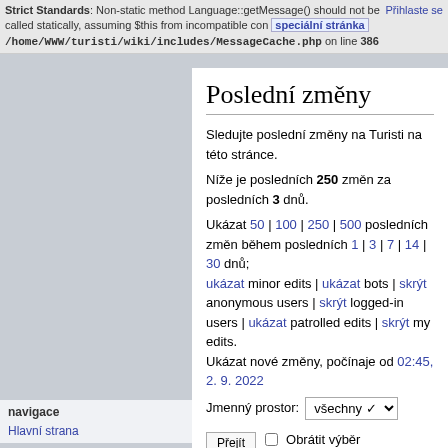Přihlaste se
Strict Standards: Non-static method Language::getMessage() should not be called statically, assuming $this from incompatible context in /home/WWW/turisti/wiki/includes/MessageCache.php on line 386. speciální stránka
Poslední změny
Sledujte poslední změny na Turisti na této stránce.
Níže je posledních 250 změn za posledních 3 dnů.
Ukázat 50 | 100 | 250 | 500 posledních změn během posledních 1 | 3 | 7 | 14 | 30 dnů; ukázat minor edits | ukázat bots | skrýt anonymous users | skrýt logged-in users | ukázat patrolled edits | skrýt my edits. Ukázat nové změny, počínaje od 02:45, 2. 9. 2022
Jmenný prostor: všechny
Přejít  Obrátit výběr
navigace
Hlavní strana